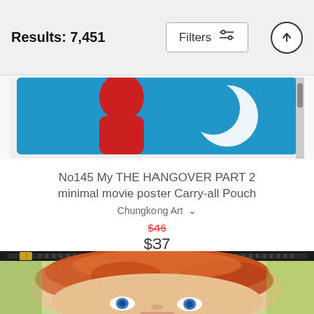Results: 7,451
[Figure (screenshot): Filters button with sliders icon and an up-arrow circle button in the top bar]
[Figure (photo): Cropped top portion of a blue carry-all pouch with red silhouette figure and white crescent shape on blue background]
No145 My THE HANGOVER PART 2 minimal movie poster Carry-all Pouch
Chungkong Art
$46 (strikethrough) $37
[Figure (photo): Close-up of a carry-all pouch with a watercolor painting of a child's face with blue eyes and orange-red hair, with a gold zipper along the top]